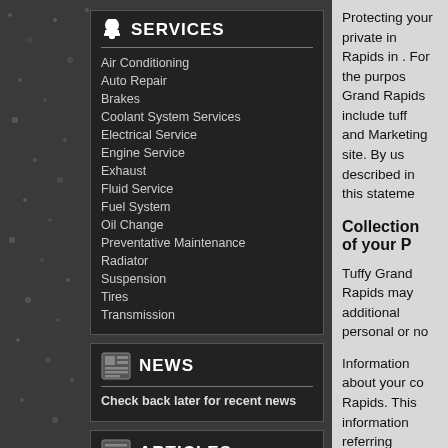SERVICES
Air Conditioning
Auto Repair
Brakes
Coolant System Services
Electrical Service
Engine Service
Exhaust
Fluid Service
Fuel System
Oil Change
Preventative Maintenance
Radiator
Suspension
Tires
Transmission
NEWS
Check back later for recent news
ARTICLES
Protecting your private in Rapids in . For the purpos Grand Rapids include tuff and Marketing site. By us described in this stateme
Collection of your P
Tuffy Grand Rapids may additional personal or no
Information about your co Rapids. This information referring website address quality of the service and
Tuffy Grand Rapids enco from Tuffy Grand Rapids information. Tuffy Grand websites outside of the T
Use of Your Persona